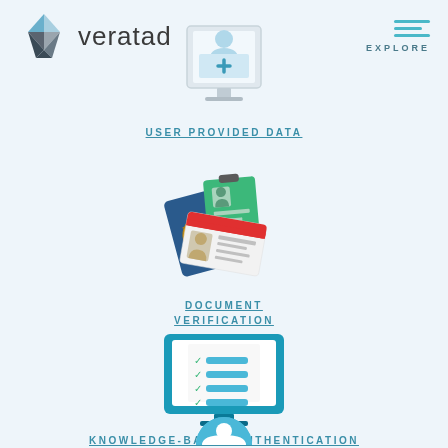[Figure (logo): Veratad logo with diamond/compass icon and wordmark 'veratad']
[Figure (illustration): Computer monitor with person icon and plus sign - User Provided Data icon]
USER PROVIDED DATA
[Figure (illustration): Passport and ID cards - Document Verification icon]
DOCUMENT VERIFICATION
[Figure (illustration): Computer monitor with checklist - Knowledge-Based Authentication icon]
KNOWLEDGE-BASED AUTHENTICATION
[Figure (illustration): Partial icon at bottom of page]